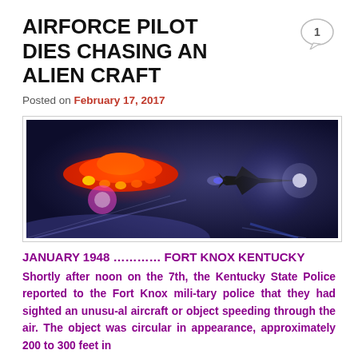AIRFORCE PILOT DIES CHASING AN ALIEN CRAFT
Posted on February 17, 2017
[Figure (illustration): Digital illustration of a glowing UFO saucer with red and yellow lights on the left, and a military jet fighter with a bright spotlight on the right, both flying against a dark blue sky background.]
JANUARY 1948  …………  FORT KNOX KENTUCKY
Shortly after noon on the 7th, the Kentucky State Police reported to the Fort Knox mili-tary police that they had sighted an unusu-al aircraft or object speeding through the air. The object was circular in appearance, approximately 200 to 300 feet in